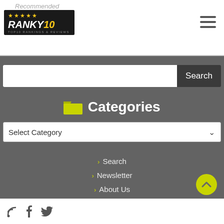Recommended - Ranky10 TOP10 RANKINGS & REVIEWS logo with hamburger menu
[Figure (screenshot): Search bar with text input and Search button]
Categories
[Figure (screenshot): Select Category dropdown]
Search
Newsletter
About Us
Disclaimer
Privacy Policy
Contact
Social media icons: RSS, Facebook, Twitter